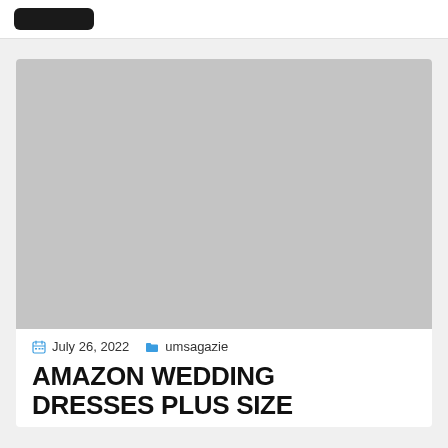[Figure (logo): Dark rounded rectangle logo placeholder in top navigation bar]
[Figure (photo): Large gray placeholder image for article header photo]
July 26, 2022   umsagazie
AMAZON WEDDING DRESSES PLUS SIZE